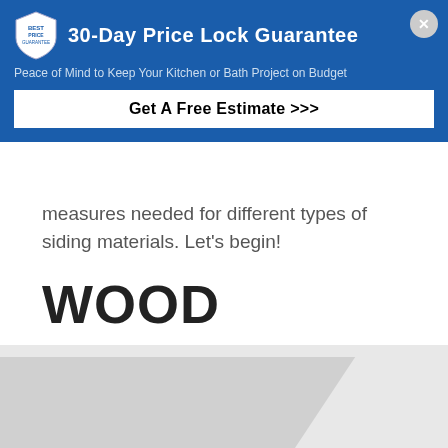[Figure (other): Blue promotional banner overlay with shield logo, '30-Day Price Lock Guarantee' heading, subtitle text 'Peace of Mind to Keep Your Kitchen or Bath Project on Budget', a 'Get A Free Estimate >>>' call-to-action button, and a close (X) button in the top-right corner.]
measures needed for different types of siding materials. Let's begin!
WOOD
[Figure (photo): Partially visible image of wood siding, appears as a gray silhouette/placeholder.]
Between wood, vinyl, and fiber cement siding, wood is easily the most maintenance intensive. If you want your wood siding to thrive for prolonged periods of time, you will